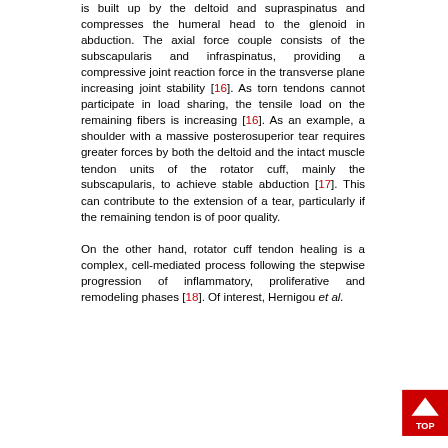is built up by the deltoid and supraspinatus and compresses the humeral head to the glenoid in abduction. The axial force couple consists of the subscapularis and infraspinatus, providing a compressive joint reaction force in the transverse plane increasing joint stability [16]. As torn tendons cannot participate in load sharing, the tensile load on the remaining fibers is increasing [16]. As an example, a shoulder with a massive posterosuperior tear requires greater forces by both the deltoid and the intact muscle tendon units of the rotator cuff, mainly the subscapularis, to achieve stable abduction [17]. This can contribute to the extension of a tear, particularly if the remaining tendon is of poor quality.

On the other hand, rotator cuff tendon healing is a complex, cell-mediated process following the stepwise progression of inflammatory, proliferative and remodeling phases [18]. Of interest, Hernigou et al.